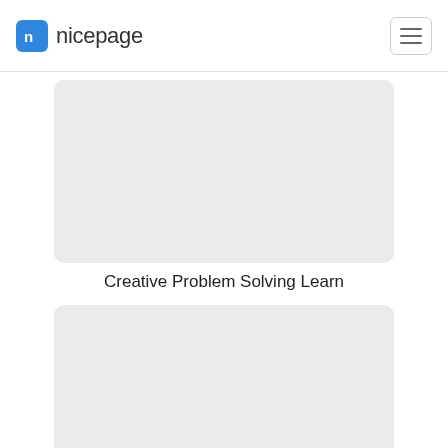nicepage
[Figure (illustration): Gray rounded rectangle placeholder image for 'Creative Problem Solving Learn' card]
Creative Problem Solving Learn
[Figure (illustration): Gray rounded rectangle placeholder image for 'Text Business Solutions' card]
Text Business Solutions
[Figure (illustration): Gray rounded rectangle placeholder image for third card (partially visible)]